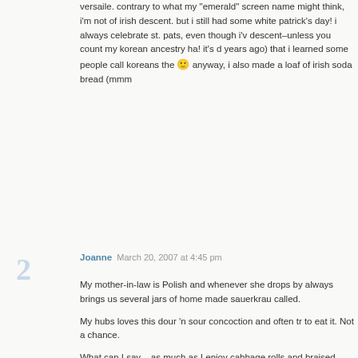versaile. contrary to what my 'emerald' screen name might think, i'm not of irish descent. but i still had some white patrick's day! i always celebrate st. pats, even though i'v descent–unless you count my korean ancestry ha! it's d years ago) that i learned some people call koreans the 🙂 anyway, i also made a loaf of irish soda bread (mmm
Joanne  March 20, 2007 at 4:45 pm
My mother-in-law is Polish and whenever she drops by always brings us several jars of home made sauerkrau called.

My hubs loves this dour 'n sour concoction and often tr to eat it. Not a chance.

What can I say – as much as I enjoy cabbage rolls and braised cabbage, this acidy pungent sour dish with bits food of the Greek gods and goddesses 🙂 🙂

I best quite while I'm ahead…!

Your braised cabbage sounds quite tasty however. Mus sugar can certainly lend a lovely carmelized tart flavour dish. I will try it one day when mother-in-law drops by fo